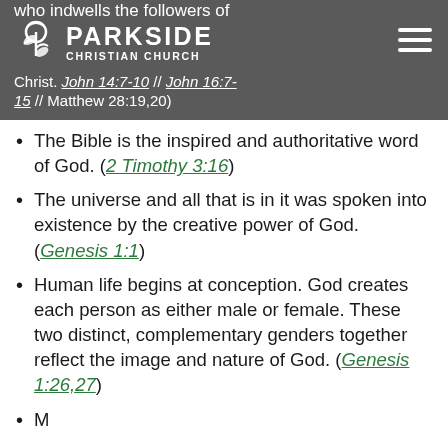who indwells the followers of Christ. (John 14:7-10 // John 16:7-15 // Matthew 28:19,20)
The Bible is the inspired and authoritative word of God. (2 Timothy 3:16)
The universe and all that is in it was spoken into existence by the creative power of God. (Genesis 1:1)
Human life begins at conception. God creates each person as either male or female. These two distinct, complementary genders together reflect the image and nature of God. (Genesis 1:26,27)
Marriage and family are the...